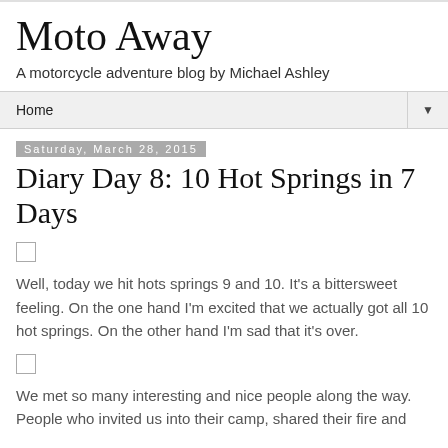Moto Away
A motorcycle adventure blog by Michael Ashley
Home ▼
Saturday, March 28, 2015
Diary Day 8: 10 Hot Springs in 7 Days
Well, today we hit hots springs 9 and 10. It's a bittersweet feeling. On the one hand I'm excited that we actually got all 10 hot springs. On the other hand I'm sad that it's over.
We met so many interesting and nice people along the way. People who invited us into their camp, shared their fire and